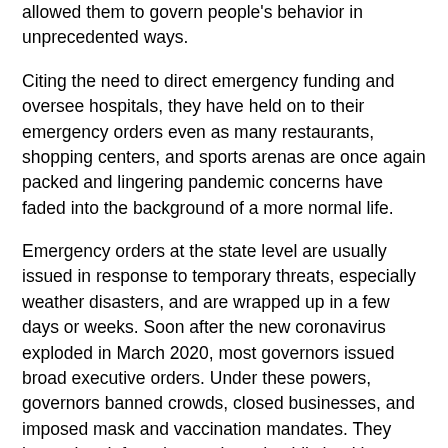allowed them to govern people's behavior in unprecedented ways.
Citing the need to direct emergency funding and oversee hospitals, they have held on to their emergency orders even as many restaurants, shopping centers, and sports arenas are once again packed and lingering pandemic concerns have faded into the background of a more normal life.
Emergency orders at the state level are usually issued in response to temporary threats, especially weather disasters, and are wrapped up in a few days or weeks. Soon after the new coronavirus exploded in March 2020, most governors issued broad executive orders. Under these powers, governors banned crowds, closed businesses, and imposed mask and vaccination mandates. They have also deferred to unelected public health officials in imposing restrictions.
READ MORE